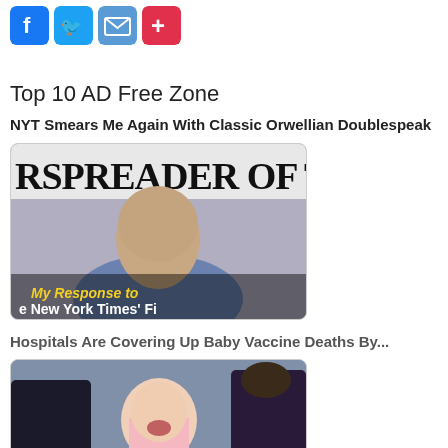[Figure (illustration): Social media share icons: Facebook (blue), Twitter (blue), Email (blue), Print (red)]
Top 10 AD Free Zone
NYT Smears Me Again With Classic Orwellian Doublespeak
[Figure (photo): Photo of a bald man in a blue shirt in front of text reading 'RSPREADER OF T', with overlay text 'My Response to e New York Times' Fi']
Hospitals Are Covering Up Baby Vaccine Deaths By...
[Figure (photo): Photo of a baby in a pink shirt crying while being held, apparently receiving a vaccination, with masked medical staff visible]